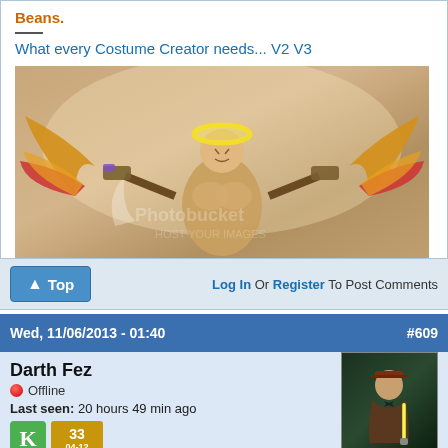Beans.
What every Costume Creator needs… V2 V3
[Figure (photo): In-game character screenshot showing an angelic muscular figure with golden wings, a halo, and red feather accents, holding weapons, on a photobucket watermarked background.]
Top   Log In Or Register To Post Comments
Wed, 11/06/2013 - 01:40   #609
Darth Fez
Offline
Last seen: 20 hours 49 min ago
[Figure (photo): Avatar image showing a stylized character in a dark green background, wearing a brown jacket and bow tie, holding a glowing lightsaber.]